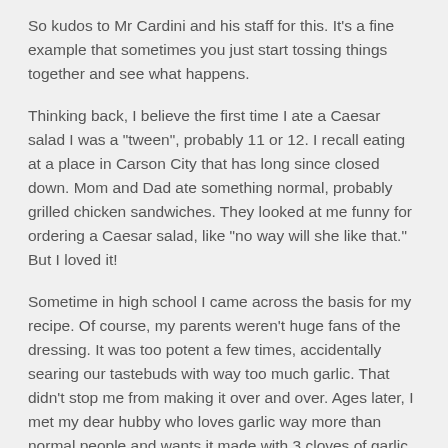So kudos to Mr Cardini and his staff for this. It's a fine example that sometimes you just start tossing things together and see what happens.
Thinking back, I believe the first time I ate a Caesar salad I was a "tween", probably 11 or 12. I recall eating at a place in Carson City that has long since closed down. Mom and Dad ate something normal, probably grilled chicken sandwiches. They looked at me funny for ordering a Caesar salad, like "no way will she like that." But I loved it!
Sometime in high school I came across the basis for my recipe. Of course, my parents weren't huge fans of the dressing. It was too potent a few times, accidentally searing our tastebuds with way too much garlic. That didn't stop me from making it over and over. Ages later, I met my dear hubby who loves garlic way more than normal people and wants it made with 3 cloves of garlic.